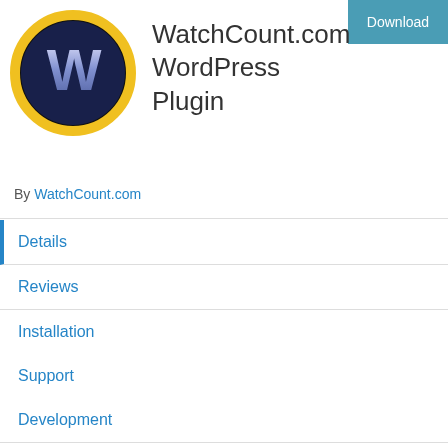[Figure (logo): WatchCount.com circular logo with a large W on dark background with yellow ring]
WatchCount.com WordPress Plugin
By WatchCount.com
Details
Reviews
Installation
Support
Development
Description